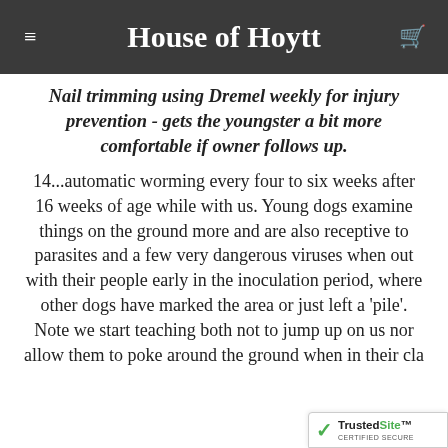House of Hoytt
Nail trimming using Dremel weekly for injury prevention - gets the youngster a bit more comfortable if owner follows up.
14...automatic worming every four to six weeks after 16 weeks of age while with us. Young dogs examine things on the ground more and are also receptive to parasites and a few very dangerous viruses when out with their people early in the inoculation period, where other dogs have marked the area or just left a 'pile'. Note we start teaching both not to jump up on us nor allow them to poke around the ground when in their cla